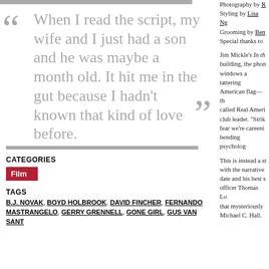Photography by R[truncated] / Styling by Lisa Ng[truncated] / Grooming by Ben[truncated] / Special thanks to [truncated]
"When I read the script, my wife and I just had a son and he was maybe a month old. It hit me in the gut because I hadn't known that kind of love before."
Jim Mickle's In th[truncated] building, the phon[truncated] windows a tattering[truncated] American flag—th[truncated] called Real Ameri[truncated] club leader. "Strik[truncated] fear we're careeni[truncated] bending psycholog[truncated]
This is instead a st[truncated] with the narrative [truncated] date and his best s[truncated] officer Thomas Lo[truncated] that mysteriously [truncated] Michael C. Hall. [truncated]
CATEGORIES
Film
TAGS
B.J. NOVAK, BOYD HOLBROOK, DAVID FINCHER, FERNANDO MASTRANGELO, GERRY GRENNELL, GONE GIRL, GUS VAN SANT